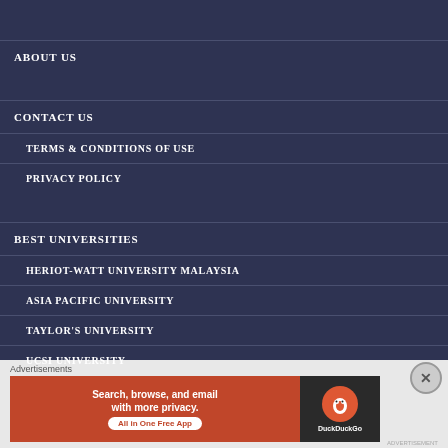ABOUT US
CONTACT US
TERMS & CONDITIONS OF USE
PRIVACY POLICY
BEST UNIVERSITIES
HERIOT-WATT UNIVERSITY MALAYSIA
ASIA PACIFIC UNIVERSITY
TAYLOR'S UNIVERSITY
UCSI UNIVERSITY
Advertisements
[Figure (screenshot): DuckDuckGo advertisement banner: orange left side with text 'Search, browse, and email with more privacy. All in One Free App', and dark right side with DuckDuckGo logo and name.]